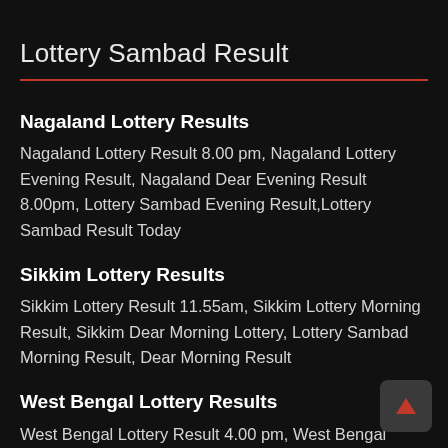Lottery Sambad Result
Nagaland Lottery Results
Nagaland Lottery Result 8.00 pm, Nagaland Lottery Evening Result, Nagaland Dear Evening Result 8.00pm, Lottery Sambad Evening Result,Lottery Sambad Result Today
Sikkim Lottery Results
Sikkim Lottery Result 11.55am, Sikkim Lottery Morning Result, Sikkim Dear Morning Lottery, Lottery Sambad Morning Result, Dear Morning Result
West Bengal Lottery Results
West Bengal Lottery Result 4.00 pm, West Bengal Lottery